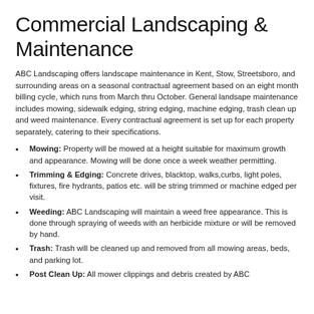Commercial Landscaping & Maintenance
ABC Landscaping offers landscape maintenance in Kent, Stow, Streetsboro, and surrounding areas on a seasonal contractual agreement based on an eight month billing cycle, which runs from March thru October. General landsape maintenance includes mowing, sidewalk edging, string edging, machine edging, trash clean up and weed maintenance. Every contractual agreement is set up for each property separately, catering to their specifications.
Mowing: Property will be mowed at a height suitable for maximum growth and appearance. Mowing will be done once a week weather permitting.
Trimming & Edging: Concrete drives, blacktop, walks,curbs, light poles, fixtures, fire hydrants, patios etc. will be string trimmed or machine edged per visit.
Weeding: ABC Landscaping will maintain a weed free appearance. This is done through spraying of weeds with an herbicide mixture or will be removed by hand.
Trash: Trash will be cleaned up and removed from all mowing areas, beds, and parking lot.
Post Clean Up: All mower clippings and debris created by ABC...